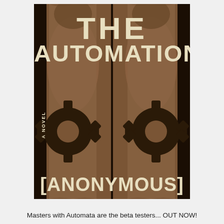[Figure (illustration): Book cover for 'The Automation' by [Anonymous]. A sepia-toned image showing a mirrored/split view of a human torso with gear/cog symbols overlaid on the figure. Large cream/beige text reads 'THE AUTOMATION' at the top and '[ANONYMOUS]' at the bottom. 'A NOVEL' appears vertically on the left side.]
Masters with Automata are the beta testers... OUT NOW!